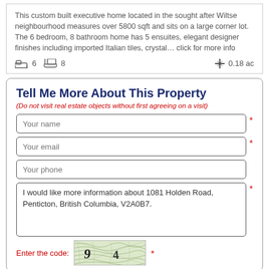This custom built executive home located in the sought after Wiltse neighbourhood measures over 5800 sqft and sits on a large corner lot. The 6 bedroom, 8 bathroom home has 5 ensuites, elegant designer finishes including imported Italian tiles, crystal… click for more info
6  8  0.18 ac
Tell Me More About This Property
(Do not visit real estate objects without first agreeing on a visit)
Your name
Your email
Your phone
I would like more information about 1081 Holden Road, Penticton, British Columbia, V2A0B7.
Enter the code:
[Figure (other): CAPTCHA image with wavy lines background and distorted text showing '9 4']